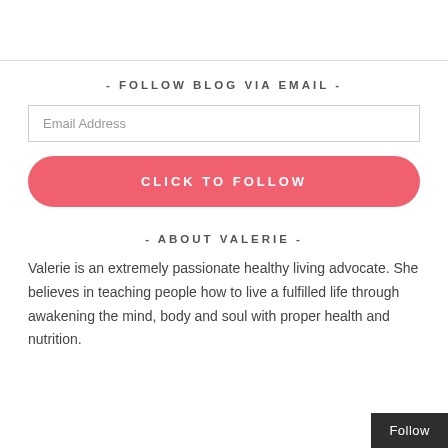- FOLLOW BLOG VIA EMAIL -
Email Address
CLICK TO FOLLOW
- ABOUT VALERIE -
Valerie is an extremely passionate healthy living advocate. She believes in teaching people how to live a fulfilled life through awakening the mind, body and soul with proper health and nutrition.
Follow